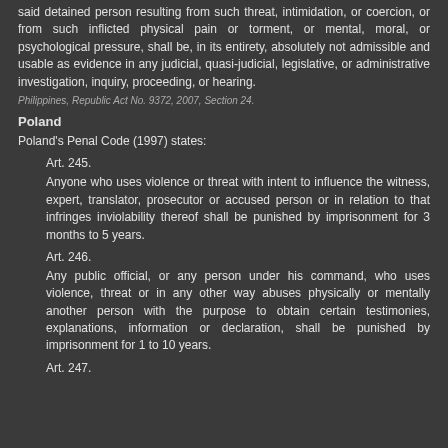said detained person resulting from such threat, intimidation, or coercion, or from such inflicted physical pain or torment, or mental, moral, or psychological pressure, shall be, in its entirety, absolutely not admissible and usable as evidence in any judicial, quasi-judicial, legislative, or administrative investigation, inquiry, proceeding, or hearing.
Philippines, Republic Act No. 9372, 2007, Section 24.
Poland
Poland's Penal Code (1997) states:
Art. 245.
Anyone who uses violence or threat with intent to influence the witness, expert, translator, prosecutor or accused person or in relation to that infringes inviolability thereof shall be punished by imprisonment for 3 months to 5 years.
Art. 246.
Any public official, or any person under his command, who uses violence, threat or in any other way abuses physically or mentally another person with the purpose to obtain certain testimonies, explanations, information or declaration, shall be punished by imprisonment for 1 to 10 years.
Art. 247.